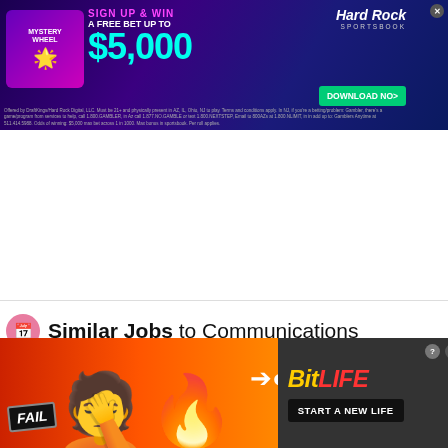[Figure (other): Hard Rock Sportsbook advertisement banner. Dark purple/blue background with neon effects. Shows 'MYSTERY WHEEL' logo on left, 'SIGN UP & WIN A FREE BET UP TO $5,000' text in center, Hard Rock Sportsbook logo on right, and 'DOWNLOAD NOW' green button. Fine print disclaimer text at bottom.]
[Figure (other): White empty space area (page content gap / ad placeholder area)]
Similar Jobs to Communications
This site uses cookies and other similar technologies to provide site functionality, analyze traffic and usage, and
[Figure (other): BitLife mobile game advertisement. Red/orange fire background on left with 'FAIL' badge and cartoon emoji of person face-palming and fire emoji. Dark right side with BitLife logo (yellow/red text) showing a sperm icon, and black button reading 'START A NEW LIFE'. Close and help buttons in top right corner.]